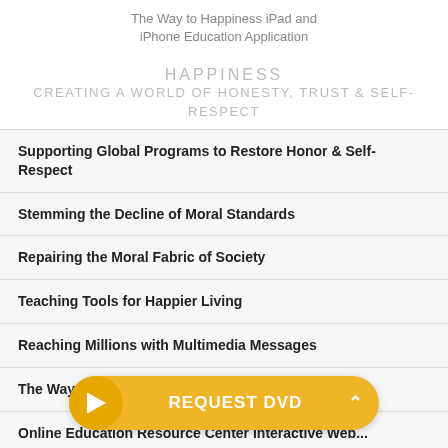The Way to Happiness iPad and iPhone Education Application
HAPPINESS
CREATING A WORLD OF HONESTY, TRUST & SELF-RESPECT
Supporting Global Programs to Restore Honor & Self-Respect
Stemming the Decline of Moral Standards
Repairing the Moral Fabric of Society
Teaching Tools for Happier Living
Reaching Millions with Multimedia Messages
The Way to Happiness Book-on-Film
Online Education Resource Center Interactive Web...
Spreading The ... Message